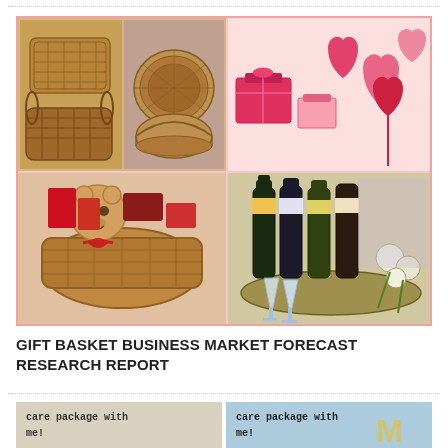[Figure (photo): Collage of four gift basket related photos: top-left shows four wicker baskets in a 2x2 grid, top-right shows red hearts and gift boxes on pink background, bottom-left shows a gift basket with a teddy bear and red ribbons, bottom-right shows a wine bottle gift basket with glasses and flowers.]
GIFT BASKET BUSINESS MARKET FORECAST RESEARCH REPORT
[Figure (photo): Two side-by-side images at the bottom, both showing 'care package with me!' text overlaid. Left image has light/neutral background, right image has blue/colorful background.]